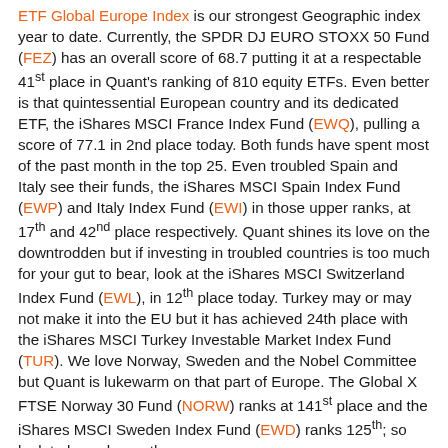ETF Global Europe Index is our strongest Geographic index year to date. Currently, the SPDR DJ EURO STOXX 50 Fund (FEZ) has an overall score of 68.7 putting it at a respectable 41st place in Quant's ranking of 810 equity ETFs. Even better is that quintessential European country and its dedicated ETF, the iShares MSCI France Index Fund (EWQ), pulling a score of 77.1 in 2nd place today. Both funds have spent most of the past month in the top 25. Even troubled Spain and Italy see their funds, the iShares MSCI Spain Index Fund (EWP) and Italy Index Fund (EWI) in those upper ranks, at 17th and 42nd place respectively. Quant shines its love on the downtrodden but if investing in troubled countries is too much for your gut to bear, look at the iShares MSCI Switzerland Index Fund (EWL), in 12th place today. Turkey may or may not make it into the EU but it has achieved 24th place with the iShares MSCI Turkey Investable Market Index Fund (TUR). We love Norway, Sweden and the Nobel Committee but Quant is lukewarm on that part of Europe. The Global X FTSE Norway 30 Fund (NORW) ranks at 141st place and the iShares MSCI Sweden Index Fund (EWD) ranks 125th; so look to buy where others